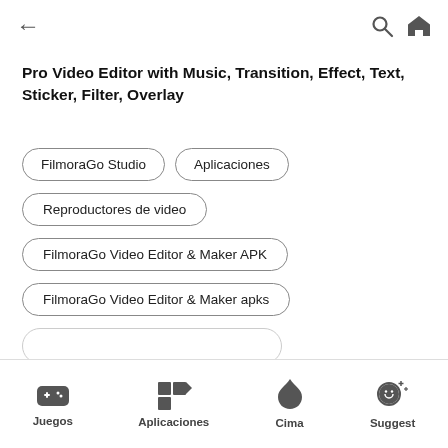← (back) | search | home
Pro Video Editor with Music, Transition, Effect, Text, Sticker, Filter, Overlay
FilmoraGo Studio
Aplicaciones
Reproductores de video
FilmoraGo Video Editor & Maker APK
FilmoraGo Video Editor & Maker apks
Juegos | Aplicaciones | Cima | Suggest